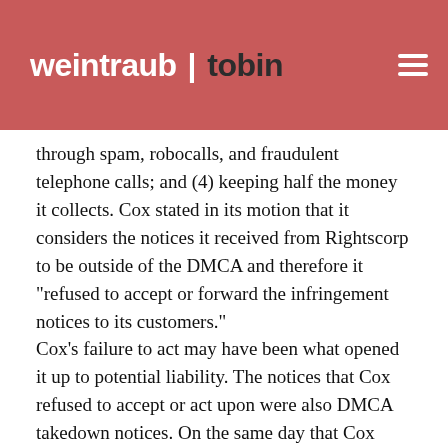weintraub tobin
who receive its threats to pay low-dollar settlement amounts to prevent infringement; (3) harassing those persons for additional money through spam, robocalls, and fraudulent telephone calls; and (4) keeping half the money it collects. Cox stated in its motion that it considers the notices it received from Rightscorp to be outside of the DMCA and therefore it "refused to accept or forward the infringement notices to its customers."
Cox's failure to act may have been what opened it up to potential liability. The notices that Cox refused to accept or act upon were also DMCA takedown notices. On the same day that Cox filed its motion, the publishers filed their own motion claiming that Cox didn't meet the requirements to use a safe harbor defense under the DMCA. The publishers